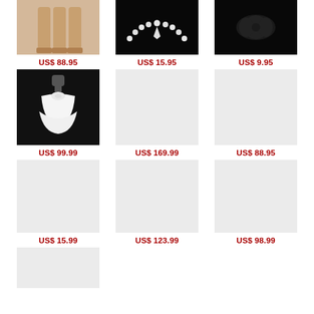[Figure (photo): Legs/shoes product photo]
US$ 88.95
[Figure (photo): Pearl necklace on black background]
US$ 15.95
[Figure (photo): Dark floral accessory on black background]
US$ 9.95
[Figure (photo): White dress on mannequin]
US$ 99.99
[Figure (photo): Gray placeholder product image]
US$ 169.99
[Figure (photo): Gray placeholder product image]
US$ 88.95
[Figure (photo): Gray placeholder product image]
US$ 15.99
[Figure (photo): Gray placeholder product image]
US$ 123.99
[Figure (photo): Gray placeholder product image]
US$ 98.99
[Figure (photo): Gray placeholder product image (partial)]